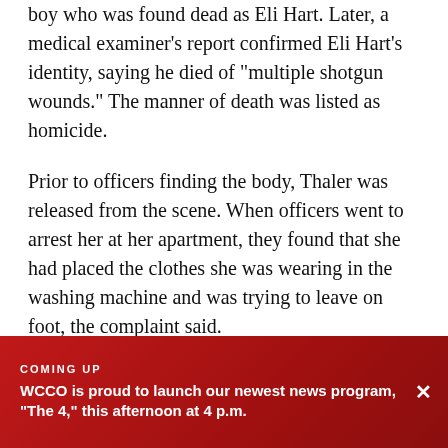boy who was found dead as Eli Hart. Later, a medical examiner's report confirmed Eli Hart's identity, saying he died of "multiple shotgun wounds." The manner of death was listed as homicide.
Prior to officers finding the body, Thaler was released from the scene. When officers went to arrest her at her apartment, they found that she had placed the clothes she was wearing in the washing machine and was trying to leave on foot, the complaint said.
Thaler's vehicle was seen at a gas station near some dumpsters not long before the traffic stop. Officers searched there and found a backpack, blood and
COMING UP
WCCO is proud to launch our newest news program, "The 4," this afternoon at 4 p.m.